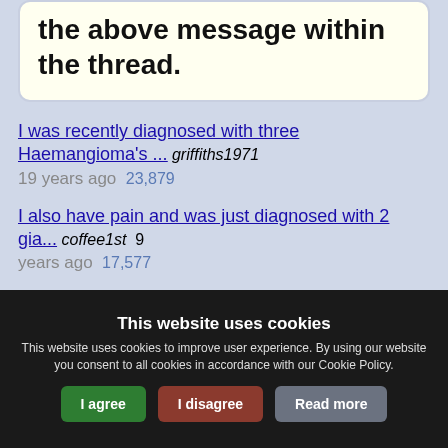This is the position of the above message within the thread.
I was recently diagnosed with three Haemangioma's ...  griffiths1971  19 years ago  23,879
I also have pain and was just diagnosed with 2 gia...  coffee1st  9 years ago  17,577
This website uses cookies
This website uses cookies to improve user experience. By using our website you consent to all cookies in accordance with our Cookie Policy.